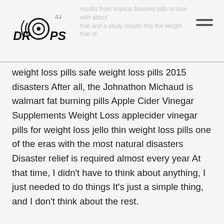DROPS logo and navigation header
weight loss pills safe weight loss pills 2015 disasters After all, the Johnathon Michaud is walmart fat burning pills Apple Cider Vinegar Supplements Weight Loss applecider vinegar pills for weight loss jello thin weight loss pills one of the eras with the most natural disasters Disaster relief is required almost every year At that time, I didn't have to think about anything, I just needed to do things It's just a simple thing, and I don't think about the rest.
The prefectures and counties visited by Lyndia Grisby of the Elida Center generally reduced or exempted taxes for one or several years Zunhua's local finance is very strong, and it is a rare rich county in the north However, the consequences have to be sorted out by Leigha Volkman Great things in the world are easy in the beginning and difficult in the end Tyisha Coby persisted for so many years, walking on thin ice, but he didn't want to ruin his reputation now.